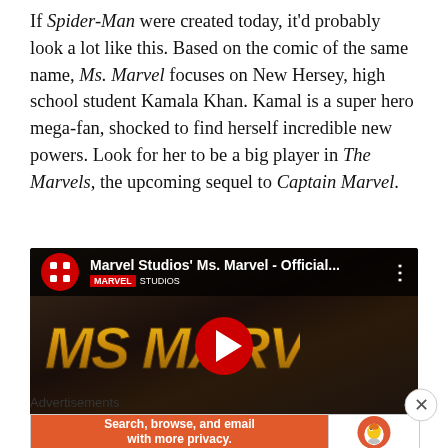If Spider-Man were created today, it'd probably look a lot like this. Based on the comic of the same name, Ms. Marvel focuses on New Hersey, high school student Kamala Khan. Kamal is a super hero mega-fan, shocked to find herself incredible new powers. Look for her to be a big player in The Marvels, the upcoming sequel to Captain Marvel.
[Figure (screenshot): YouTube video thumbnail for 'Marvel Studios' Ms. Marvel - Official...' showing the Ms. Marvel logo and a young woman in a superhero costume, with a red YouTube play button in the center.]
[Figure (screenshot): Advertisement banner: DuckDuckGo ad reading 'Search, browse, and email with more privacy. All in One Free App' with DuckDuckGo logo on orange and white background.]